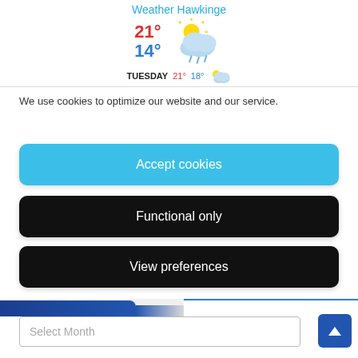[Figure (screenshot): Weather widget for Hawkinge showing 21° high in red, 14° low in blue, with a partly cloudy with rain icon. Tuesday forecast shows 21° and 18° with a partly cloudy icon.]
We use cookies to optimize our website and our service.
Accept cookies
Functional only
View preferences
Select Month